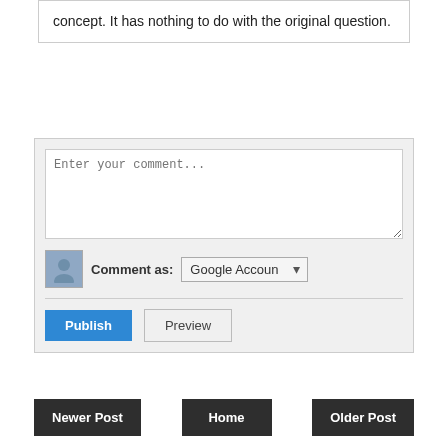concept. It has nothing to do with the original question.
Reply
Add comment
[Figure (screenshot): Comment form with textarea 'Enter your comment...', 'Comment as: Google Account' dropdown with avatar, Publish and Preview buttons]
Newer Post
Home
Older Post